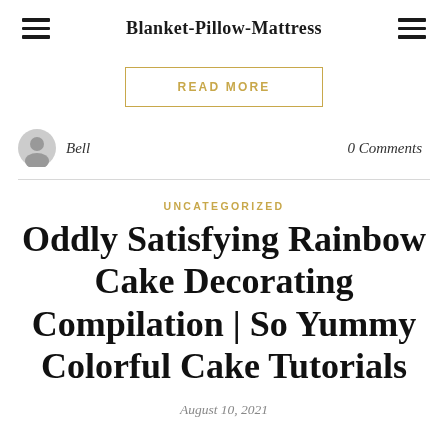Blanket-Pillow-Mattress
READ MORE
Bell
0 Comments
UNCATEGORIZED
Oddly Satisfying Rainbow Cake Decorating Compilation | So Yummy Colorful Cake Tutorials
August 10, 2021